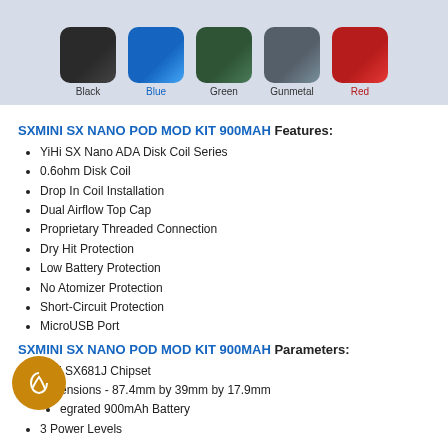[Figure (photo): Five color variants of the SXMini SX Nano Pod Mod Kit shown as device swatches labeled Black, Blue, Green, Gunmetal, Red against a light blue background.]
SXMINI SX NANO POD MOD KIT 900MAH Features:
YiHi SX Nano ADA Disk Coil Series
0.6ohm Disk Coil
Drop In Coil Installation
Dual Airflow Top Cap
Proprietary Threaded Connection
Dry Hit Protection
Low Battery Protection
No Atomizer Protection
Short-Circuit Protection
MicroUSB Port
SXMINI SX NANO POD MOD KIT 900MAH Parameters:
YiHi SX681J Chipset
Dimensions - 87.4mm by 39mm by 17.9mm
Integrated 900mAh Battery
3 Power Levels